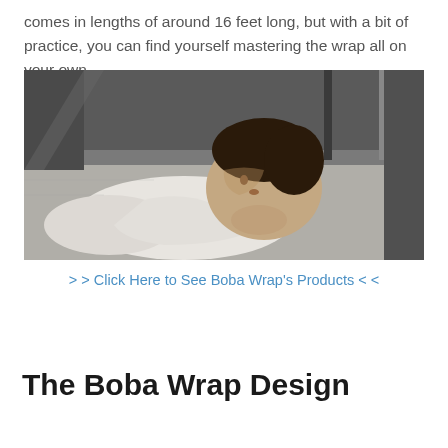comes in lengths of around 16 feet long, but with a bit of practice, you can find yourself mastering the wrap all on your own.
[Figure (photo): Black and white photograph of a newborn baby swaddled in a white wrap cloth, lying on a surface, viewed from a slightly elevated angle.]
> > Click Here to See Boba Wrap's Products < <
The Boba Wrap Design